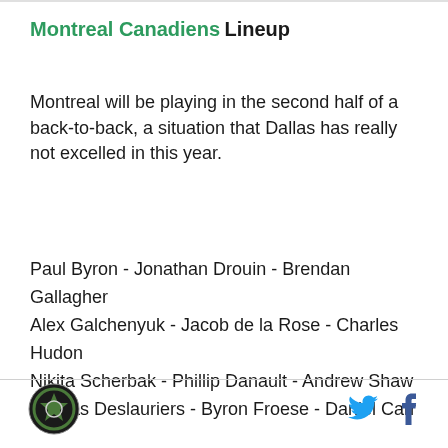Montreal Canadiens Lineup
Montreal will be playing in the second half of a back-to-back, a situation that Dallas has really not excelled in this year.
Paul Byron - Jonathan Drouin - Brendan Gallagher
Alex Galchenyuk - Jacob de la Rose - Charles Hudon
Nikita Scherbak - Phillip Danault - Andrew Shaw
Nicolas Deslauriers - Byron Froese - Daniel Carr
[Dallas Stars logo] [Twitter icon] [Facebook icon]